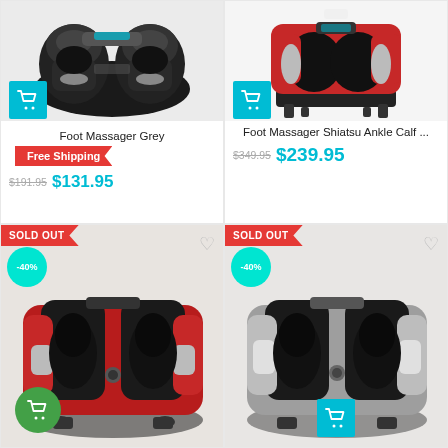[Figure (photo): Foot massager grey device, black, viewed from front-angle]
Foot Massager Grey
Free Shipping
$191.95  $131.95
[Figure (photo): Foot Massager Shiatsu Ankle Calf red and black device]
Foot Massager Shiatsu Ankle Calf ...
$349.95  $239.95
[Figure (photo): Red and black foot massager, sold out, -40% discount]
[Figure (photo): Silver and black foot massager, sold out, -40% discount]